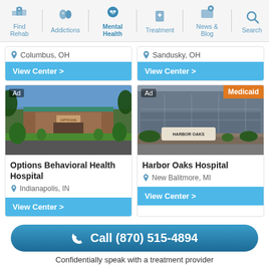Find Rehab | Addictions | Mental Health | Treatment | News & Blog | Search
Columbus, OH
View Center >
Sandusky, OH
View Center >
[Figure (photo): Exterior of Options Behavioral Health Hospital building with parking lot, trees, and blue sky. Ad badge visible.]
Options Behavioral Health Hospital
Indianapolis, IN
View Center >
[Figure (photo): Exterior of Harbor Oaks Hospital with large stone and glass facade. Ad badge and Medicaid badge visible.]
Harbor Oaks Hospital
New Balitmore, MI
View Center >
Call (870) 515-4894
Confidentially speak with a treatment provider